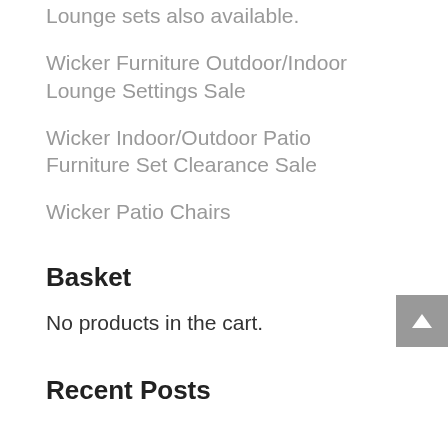Lounge sets also available.
Wicker Furniture Outdoor/Indoor Lounge Settings Sale
Wicker Indoor/Outdoor Patio Furniture Set Clearance Sale
Wicker Patio Chairs
Basket
No products in the cart.
Recent Posts